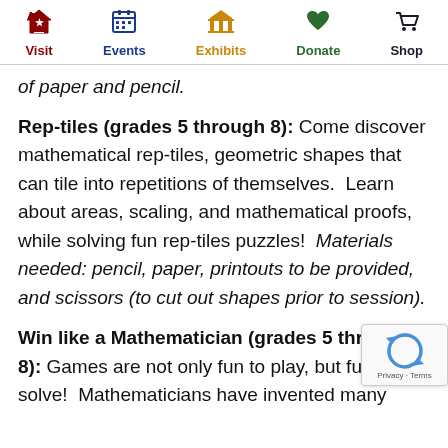Visit | Events | Exhibits | Donate | Shop
of paper and pencil.
Rep-tiles (grades 5 through 8): Come discover mathematical rep-tiles, geometric shapes that can tile into repetitions of themselves. Learn about areas, scaling, and mathematical proofs, while solving fun rep-tiles puzzles! Materials needed: pencil, paper, printouts to be provided, and scissors (to cut out shapes prior to session).
Win like a Mathematician (grades 5 through 8): Games are not only fun to play, but fu... solve! Mathematicians have invented many